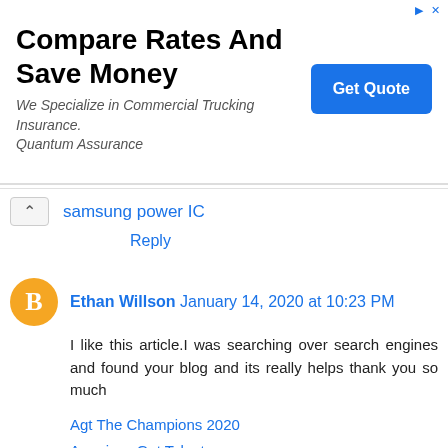[Figure (other): Advertisement banner: 'Compare Rates And Save Money' with subtitle 'We Specialize in Commercial Trucking Insurance. Quantum Assurance' and a blue 'Get Quote' button]
samsung power IC
Reply
Ethan Willson  January 14, 2020 at 10:23 PM
I like this article.I was searching over search engines and found your blog and its really helps thank you so much
Agt The Champions 2020
Americas Got Talent
Global Got Talent
Agt The Champions
Americas Got Talent
The Voice USA
American Idol Voting
Viral News